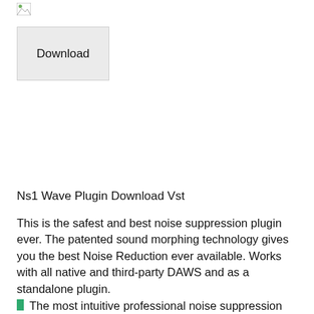[Figure (other): Broken/missing image icon at top left]
[Figure (other): Download button with light grey background]
Ns1 Wave Plugin Download Vst
This is the safest and best noise suppression plugin ever. The patented sound morphing technology gives you the best Noise Reduction ever available. Works with all native and third-party DAWS and as a standalone plugin.
The most intuitive professional noise suppression plugin